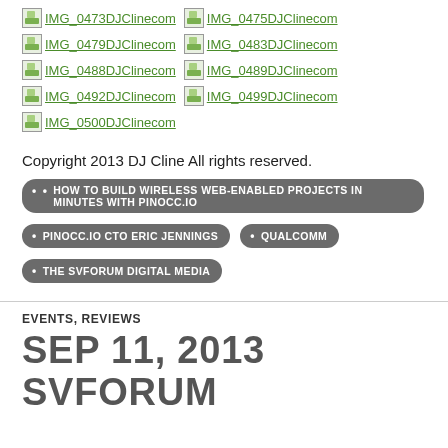[Figure (other): Grid of broken image placeholders with links: IMG_0473DJClinecom, IMG_0475DJClinecom, IMG_0479DJClinecom, IMG_0483DJClinecom, IMG_0488DJClinecom, IMG_0489DJClinecom, IMG_0492DJClinecom, IMG_0499DJClinecom, IMG_0500DJClinecom]
Copyright 2013 DJ Cline All rights reserved.
HOW TO BUILD WIRELESS WEB-ENABLED PROJECTS IN MINUTES WITH PINOCC.IO
PINOCC.IO CTO ERIC JENNINGS
QUALCOMM
THE SVFORUM DIGITAL MEDIA
EVENTS, REVIEWS
SEP 11, 2013 SVFORUM